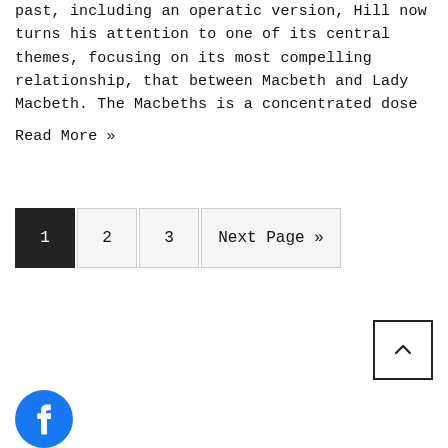past, including an operatic version, Hill now turns his attention to one of its central themes, focusing on its most compelling relationship, that between Macbeth and Lady Macbeth. The Macbeths is a concentrated dose
Read More »
1
2
3
Next Page »